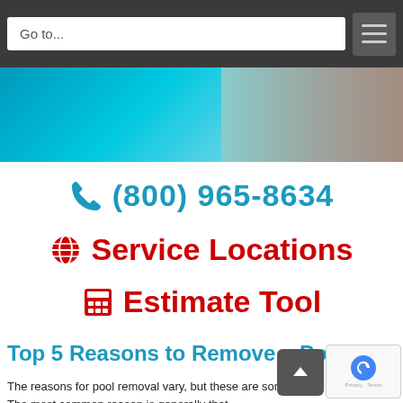Go to...
[Figure (photo): Hero banner image with blue gradient and a person in the background]
📞 (800) 965-8634
🌐 Service Locations
🧮 Estimate Tool
Top 5 Reasons to Remove a Pool
The reasons for pool removal vary, but these are some of the top reasons. The most common reason is generally that